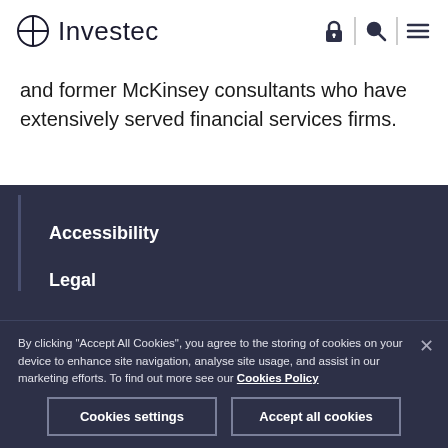Investec
and former McKinsey consultants who have extensively served financial services firms.
Accessibility
Legal
By clicking "Accept All Cookies", you agree to the storing of cookies on your device to enhance site navigation, analyse site usage, and assist in our marketing efforts. To find out more see our Cookies Policy
Cookies settings
Accept all cookies